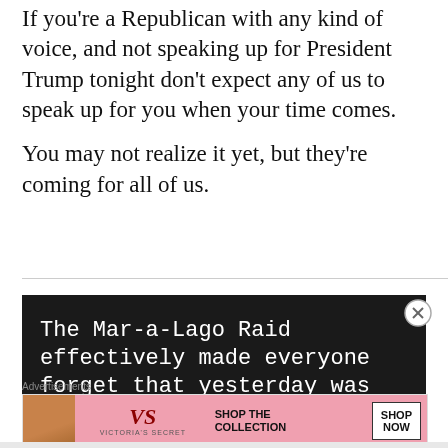If you're a Republican with any kind of voice, and not speaking up for President Trump tonight don't expect any of us to speak up for you when your time comes.

You may not realize it yet, but they're coming for all of us.
[Figure (screenshot): Dark background screenshot with white monospace text reading: 'The Mar-a-Lago Raid effectively made everyone forget that yesterday was']
Advertisements
[Figure (photo): Victoria's Secret advertisement banner with a woman's photo, VS logo, 'SHOP THE COLLECTION' text, and 'SHOP NOW' button]